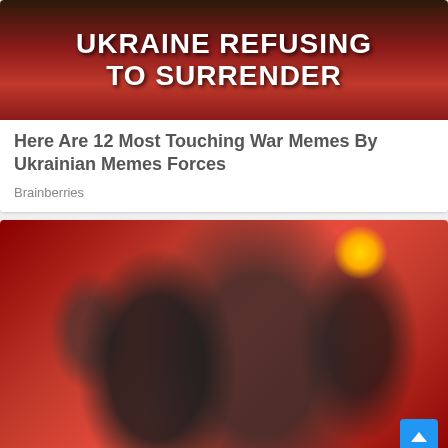[Figure (photo): War meme image with soldiers and text 'UKRAINE REFUSING TO SURRENDER' on a red and dark background]
Here Are 12 Most Touching War Memes By Ukrainian Memes Forces
Brainberries
[Figure (photo): Celebrity couple photo at a party: man in tuxedo being kissed on cheek by woman in white dress, red walls, party guests in background, gold starburst light fixture]
These Celebrity Couples Have The Most